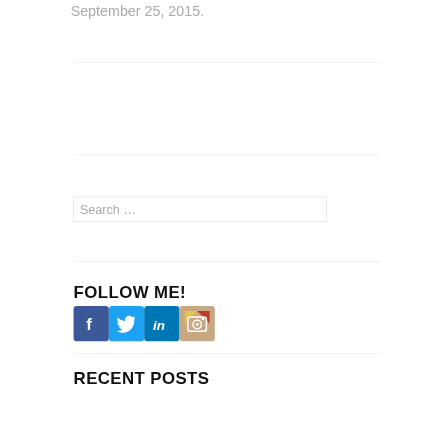September 25, 2015.
[Figure (other): Search input box with placeholder text 'Search ...']
FOLLOW ME!
[Figure (other): Social media icons: Facebook, Twitter, LinkedIn, Instagram]
RECENT POSTS